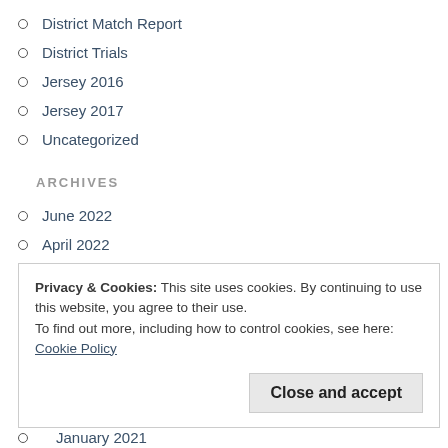District Match Report
District Trials
Jersey 2016
Jersey 2017
Uncategorized
ARCHIVES
June 2022
April 2022
February 2022
January 2022
November 2021
Privacy & Cookies: This site uses cookies. By continuing to use this website, you agree to their use.
To find out more, including how to control cookies, see here: Cookie Policy
January 2021